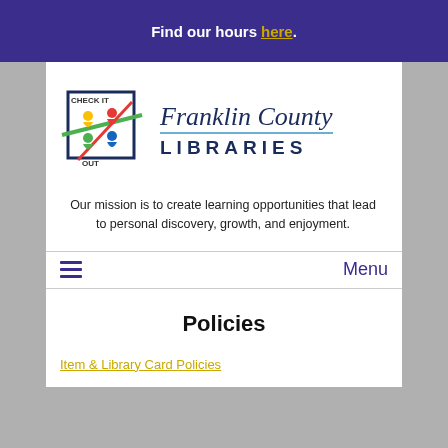Find our hours here.
[Figure (logo): Franklin County Libraries logo with colorful figures and Check It Out text]
Our mission is to create learning opportunities that lead to personal discovery, growth, and enjoyment.
Menu
Policies
Item & Library Card Policies